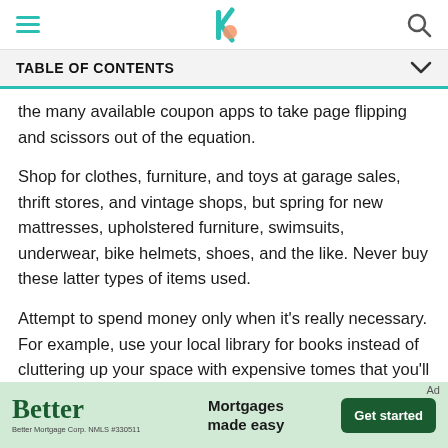Navigation bar with hamburger menu, Bankrate logo, and search icon
TABLE OF CONTENTS
the many available coupon apps to take page flipping and scissors out of the equation.
Shop for clothes, furniture, and toys at garage sales, thrift stores, and vintage shops, but spring for new mattresses, upholstered furniture, swimsuits, underwear, bike helmets, shoes, and the like. Never buy these latter types of items used.
Attempt to spend money only when it's really necessary. For example, use your local library for books instead of cluttering up your space with expensive tomes that you'll probably only read once, if at all
[Figure (other): Better Mortgages advertisement banner with 'Better' logo, 'Mortgages made easy' text, and 'Get started' button]